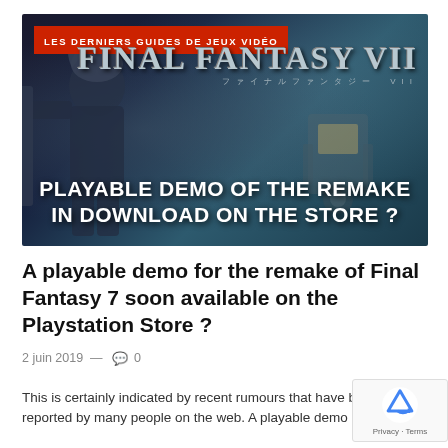[Figure (photo): Final Fantasy VII Remake promotional image showing a character silhouette with text 'PLAYABLE DEMO OF THE REMAKE IN DOWNLOAD ON THE STORE?' and 'LES DERNIERS GUIDES DE JEUX VIDÉO' red banner]
A playable demo for the remake of Final Fantasy 7 soon available on the Playstation Store ?
2 juin 2019 — 0
This is certainly indicated by recent rumours that have be reported by many people on the web. A playable demo of the